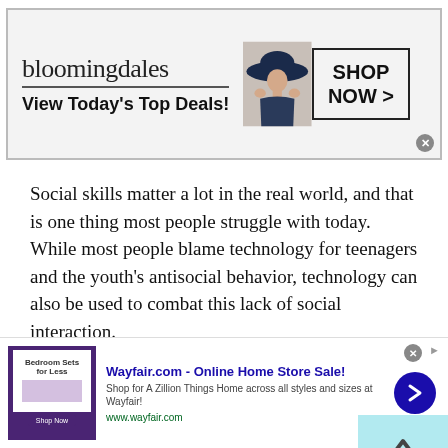[Figure (screenshot): Bloomingdale's banner advertisement with logo, 'View Today's Top Deals!' text, model in hat, and 'SHOP NOW >' button]
Social skills matter a lot in the real world, and that is one thing most people struggle with today. While most people blame technology for teenagers and the youth's antisocial behavior, technology can also be used to combat this lack of social interaction.
How? Using free Omegle Talk to Strangers applications can help teens and the youth, or in fact anyone who struggles with social interactions to build better communication and social skills. Anonymously chatting
[Figure (screenshot): Wayfair.com online advertisement — 'Wayfair.com - Online Home Store Sale!' with bedroom furniture thumbnail, tagline, URL www.wayfair.com, and blue arrow button]